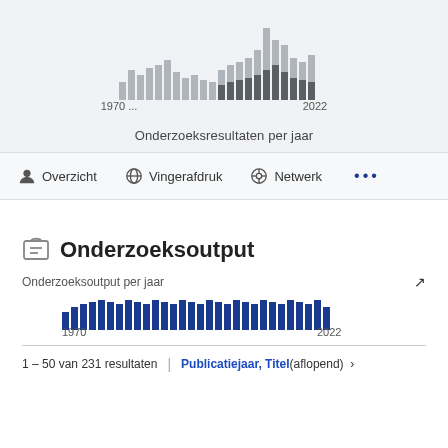[Figure (bar-chart): Onderzoeksresultaten per jaar]
Onderzoeksresultaten per jaar
Overzicht  Vingerafdruk  Netwerk  ...
Onderzoeksoutput
Onderzoeksoutput per jaar
[Figure (bar-chart): Onderzoeksoutput per jaar]
1 - 50 van 231 resultaten  |  Publicatiejaar, Titel (aflopend)  >